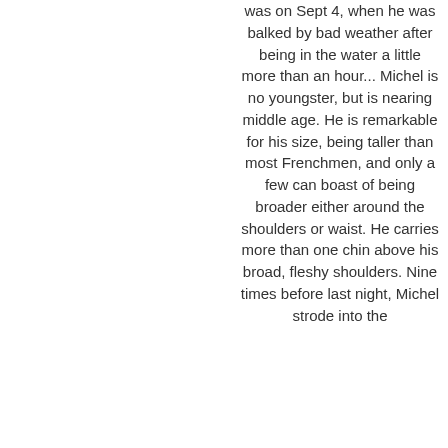was on Sept 4, when he was balked by bad weather after being in the water a little more than an hour... Michel is no youngster, but is nearing middle age. He is remarkable for his size, being taller than most Frenchmen, and only a few can boast of being broader either around the shoulders or waist. He carries more than one chin above his broad, fleshy shoulders. Nine times before last night, Michel strode into the